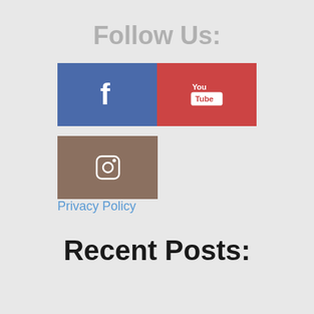Follow Us:
[Figure (infographic): Social media buttons: Facebook (blue, f icon), YouTube (red, YouTube icon), Instagram (brown, camera icon)]
Privacy Policy
Recent Posts: